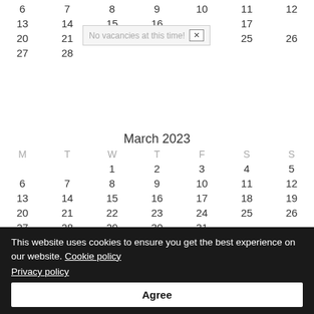| M | T | W | T | F | S | S |
| --- | --- | --- | --- | --- | --- | --- |
| 6 | 7 | 8 | 9 | 10 | 11 | 12 |
| 13 | 14 | 15 | 16 | 17 | 18 | 19(partial) |
| 20 | 21 | 22 | 23 | 24 | 25 | 26 |
| 27 | 28 |  |  |  |  |  |
March 2023
| M | T | W | T | F | S | S |
| --- | --- | --- | --- | --- | --- | --- |
|  |  | 1 | 2 | 3 | 4 | 5 |
| 6 | 7 | 8 | 9 | 10 | 11 | 12 |
| 13 | 14 | 15 | 16 | 17 | 18 | 19 |
| 20 | 21 | 22 | 23 | 24 | 25 | 26 |
| 27 | 28 | 29 | 30 | 31 |  |  |
April 2023
This website uses cookies to ensure you get the best experience on our website. Cookie policy
Privacy policy
Agree